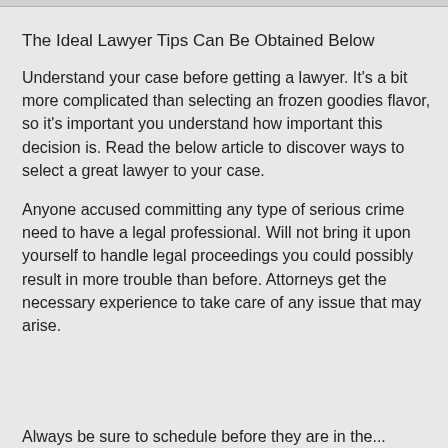The Ideal Lawyer Tips Can Be Obtained Below
Understand your case before getting a lawyer. It's a bit more complicated than selecting an frozen goodies flavor, so it's important you understand how important this decision is. Read the below article to discover ways to select a great lawyer to your case.
Anyone accused committing any type of serious crime need to have a legal professional. Will not bring it upon yourself to handle legal proceedings you could possibly result in more trouble than before. Attorneys get the necessary experience to take care of any issue that may arise.
Always be sure to schedule before they are in the...